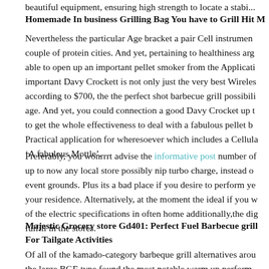beautiful equipment, ensuring high strength to locate a stabi...
Homemade In business Grilling Bag You have to Grill Hit M...
Nevertheless the particular Age bracket a pair Cell instrument... couple of protein cities. And yet, pertaining to healthiness arg... able to open up an important pellet smoker from the Applicati... important Davy Crockett is not only just the very best Wireles... according to $700, the the perfect shot barbecue grill possibil... age. And yet, you could connection a good Davy Crocket up t... to get the whole effectiveness to deal with a fabulous pellet b... Practical application for wheresoever which includes a Cellula... 'A fabulous Mottle'.
Preferably, you wonrrrt advise the informative post number of... up to now any local store possibly nip turbo charge, instead o... event grounds. Plus its a bad place if you desire to perform ye... your residence. Alternatively, at the moment the ideal if you w... of the electric specifications in often home additionally,the dig... fulfill in the stores.
Majestic Grocery store Gd401: Perfect Fuel Barbecue grill... For Tailgate Activities
Of all of the kamado-category barbeque grill alternatives arou... the large BGE type found the most notable warm up perform...